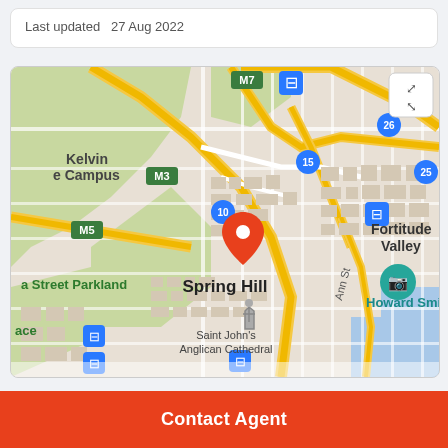Last updated  27 Aug 2022
[Figure (map): Google Maps view showing Spring Hill area in Brisbane, Australia. Map shows motorway routes M3, M5, M7, road numbers 10, 15, 25, 26. Locations visible include Kelvin Grove Campus, Fortitude Valley, Spring Hill, Howard Smith Wharves area, Saint John's Anglican Cathedral, and a Street Parkland. A red location pin marks Spring Hill. Transit icons visible. Expand/fullscreen button in top right corner.]
Contact Agent